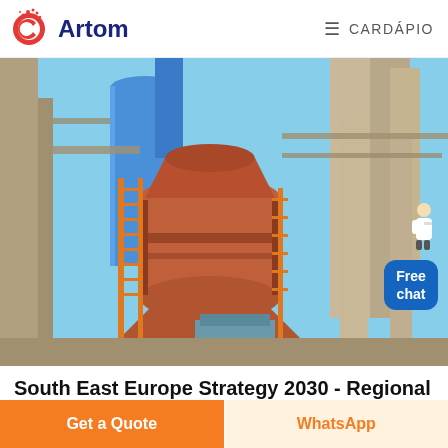Artom | CARDÁPIO
[Figure (photo): Industrial vertical mill / cement plant machinery with large cylindrical metal structures, orange scaffolding/ladders, blue industrial pipes, and concrete columns at an industrial facility. A 'Free chat' overlay button and assistant avatar appear in the bottom-right of the image.]
South East Europe Strategy 2030 - Regional
Get a Quote | WhatsApp